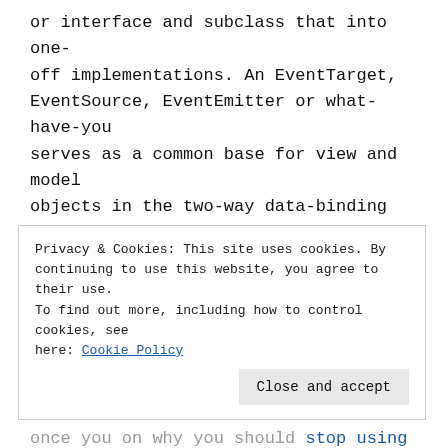or interface and subclass that into one-off implementations. An EventTarget, EventSource, EventEmitter or what-have-you serves as a common base for view and model objects in the two-way data-binding version of MVC or MVVM, for example.
Some Objections
Some contend that there is a “JavaScript way” of doing things – that JS has a “true
Privacy & Cookies: This site uses cookies. By continuing to use this website, you agree to their use. To find out more, including how to control cookies, see here: Cookie Policy
Close and accept
once you on why you should stop using